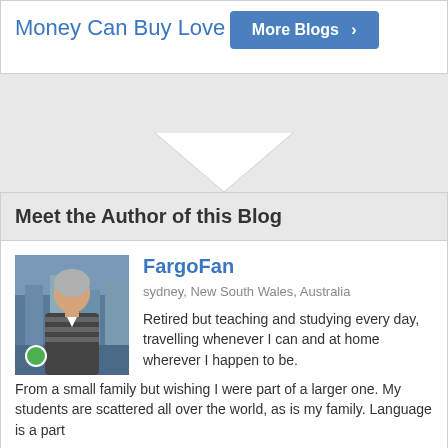Money Can Buy Love
More Blogs ›
Meet the Author of this Blog
FargoFan
sydney, New South Wales, Australia
Retired but teaching and studying every day, travelling whenever I can and at home wherever I happen to be. From a small family but wishing I were part of a larger one. My students are scattered all over the world, as is my family. Language is a part [read more]